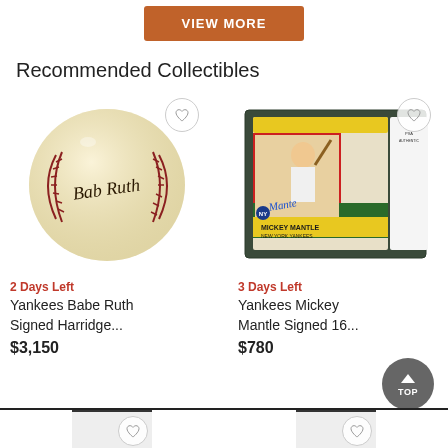[Figure (other): Orange 'VIEW MORE' button]
Recommended Collectibles
[Figure (photo): Babe Ruth signed baseball with cursive autograph]
[Figure (photo): Mickey Mantle signed 1958 Topps baseball card in PSA slab]
2 Days Left
Yankees Babe Ruth Signed Harridge...
$3,150
3 Days Left
Yankees Mickey Mantle Signed 16...
$780